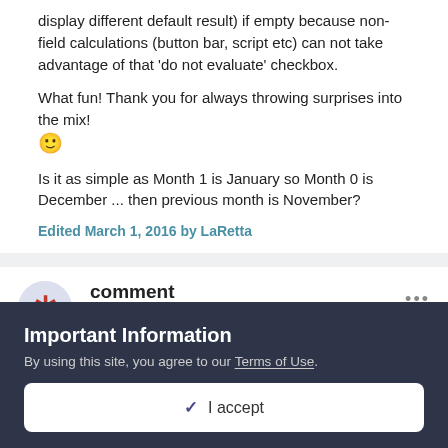display different default result) if empty because non-field calculations (button bar, script etc) can not take advantage of that 'do not evaluate' checkbox.
What fun! Thank you for always throwing surprises into the mix! 🙂
Is it as simple as Month 1 is January so Month 0 is December ... then previous month is November?
Edited March 1, 2016 by LaRetta
comment
Posted March 1, 2016
Important Information
By using this site, you agree to our Terms of Use.
✓ I accept